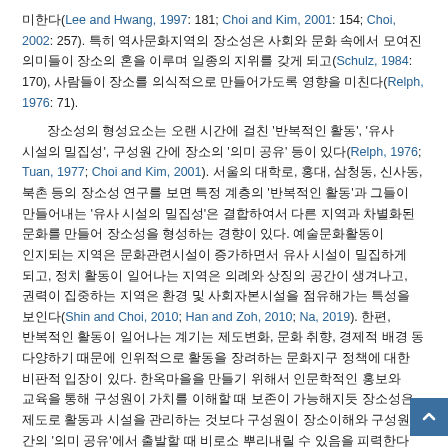미한다(Lee and Hwang, 1997: 181; Choi and Kim, 2001: 154; Choi, 2002: 257). 특히 역사문화지역의 장소성은 사회와 문화 속에서 모여진 의미들이 장소의 혼을 이루며 일종의 지위를 갖게 되고(Schulz, 1984: 170), 사람들이 장소를 의식적으로 만들어가도록 영향을 미친다(Relph, 1976: 71).
장소성의 형성요소는 오랜 시간에 걸친 '반복적인 활동', '유사 시설의 밀집성', 구성원 간에 장소의 '의미 공유' 등이 있다(Relph, 1976; Tuan, 1977; Choi and Kim, 2001). 서울의 대학로, 홍대, 삼청동, 신사동, 북촌 등의 장소성 연구를 보면 특정 계층의 '반복적인 활동'과 그들이 만들어내는 '유사 시설의 밀집성'은 결합하여서 다른 지역과 차별화된 문화를 만들어 장소성을 형성하는 경향이 있다. 예술문화활동이 인지되는 지역은 문화관련시설이 증가하면서 유사 시설이 밀집하게 되고, 정치 활동이 일어나는 지역은 의례와 상징의 공간이 생겨나고, 권력이 집중하는 지역은 환경 및 사회자본시설을 점유해가는 특성을 보인다(Shin and Choi, 2010; Han and Zoh, 2010; Na, 2019). 한편, 반복적인 활동이 일어나는 계기는 제도변화, 문화 취향, 경제적 배경 동 다양하기 때문에 인위적으로 활동을 장려하는 문화지구 정책에 대한 비판적 입장이 있다. 한옥마을을 만들기 위해서 인문학적인 홍보와 교육을 통해 구성원이 가치를 이해할 때 보존이 가능해지듯 장소성은 제도로 활동과 시설을 관리하는 것보다 구성원이 장소이해와 구성원 간의 '의미 공유'에서 출발할 때 비로소 뿌리내릴 수 있음을 피력한다(Jung, 2011).
장소 성의 사실과 법원 문제는 근대 그리고 그 이후의 에서도 제각각 한계 사...